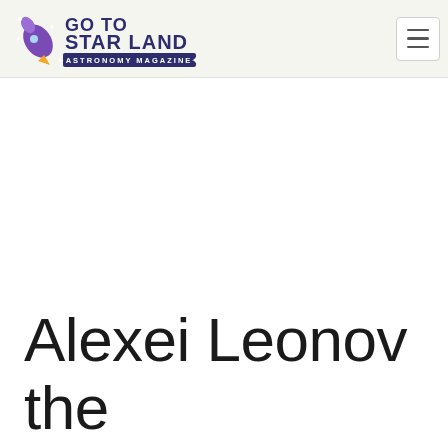GO TO STAR LAND - ASTRONOMY MAGAZINE
Alexei Leonov the